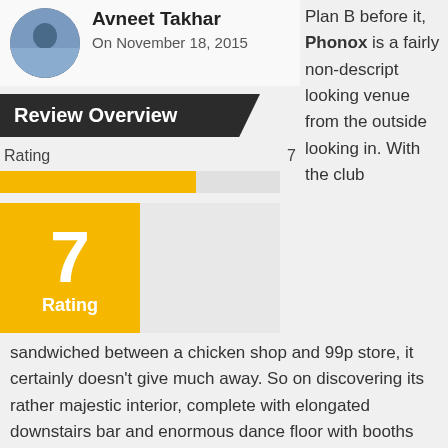[Figure (photo): Circular avatar photo of Avneet Takhar]
Avneet Takhar
On November 18, 2015
Plan B before it, Phonox is a fairly non-descript looking venue from the outside looking in. With the club sandwiched between a chicken shop and 99p store, it certainly doesn't give much away. So on discovering its rather majestic interior, complete with elongated downstairs bar and enormous dance floor with booths upstairs, it proved the idea, from the...
Review Overview
Rating
7
[Figure (infographic): Yellow progress bar showing rating 7 out of 10]
[Figure (infographic): Yellow score box displaying the number 7 with label 'Rating']